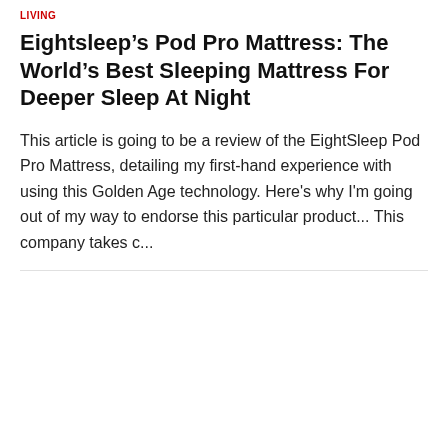LIVING
Eightsleep’s Pod Pro Mattress: The World’s Best Sleeping Mattress For Deeper Sleep At Night
This article is going to be a review of the EightSleep Pod Pro Mattress, detailing my first-hand experience with using this Golden Age technology. Here's why I'm going out of my way to endorse this particular product... This company takes c...